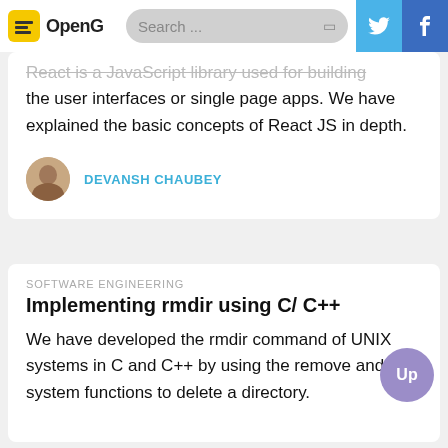OpenG | Search ...
React is a JavaScript library used for building the user interfaces or single page apps. We have explained the basic concepts of React JS in depth.
DEVANSH CHAUBEY
SOFTWARE ENGINEERING
Implementing rmdir using C/ C++
We have developed the rmdir command of UNIX systems in C and C++ by using the remove and nftw system functions to delete a directory.